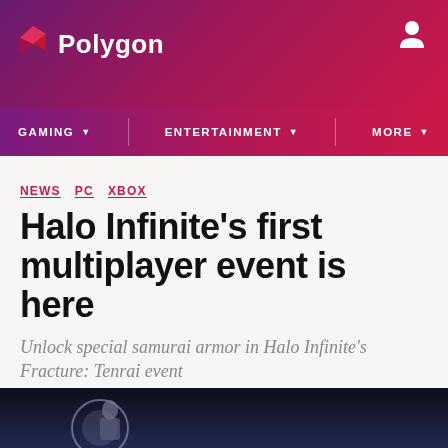Polygon
GAMING  ENTERTAINMENT  MORE
NEWS  PC  XBOX
Halo Infinite’s first multiplayer event is here
Unlock special samurai armor in Halo Infinite’s Fracture: Tenrai event
By Ryan Gilliam | @RyGilliam | Nov 23, 2021, 5:11pm EST
[Figure (screenshot): Social sharing icons: Facebook, Twitter, Share button with SHARE label]
[Figure (photo): Dark screenshot image at the bottom, showing a figure with a circular glow element]